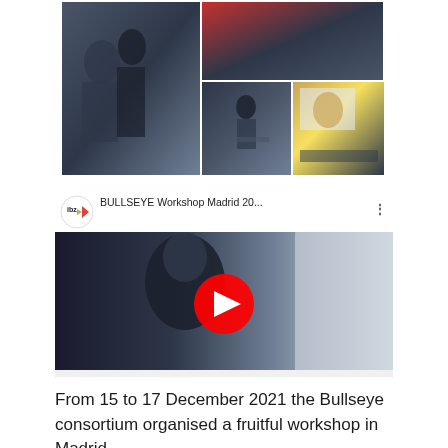[Figure (photo): Grid of conference/workshop photos showing people at a meeting, a presenter at a podium, and a video call projected on screen]
[Figure (screenshot): YouTube video thumbnail for 'BULLSEYE Workshop Madrid 20...' with ibz logo, play button overlay, and background image of person writing while wearing mask and lanyard]
From 15 to 17 December 2021 the Bullseye consortium organised a fruitful workshop in Madrid